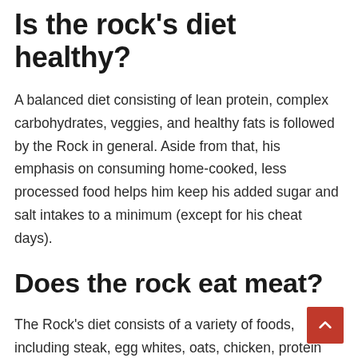Is the rock's diet healthy?
A balanced diet consisting of lean protein, complex carbohydrates, veggies, and healthy fats is followed by the Rock in general. Aside from that, his emphasis on consuming home-cooked, less processed food helps him keep his added sugar and salt intakes to a minimum (except for his cheat days).
Does the rock eat meat?
The Rock's diet consists of a variety of foods, including steak, egg whites, oats, chicken, protein drinks, vegetables, fish, orange juice, rice, and potatoes, to name a few.